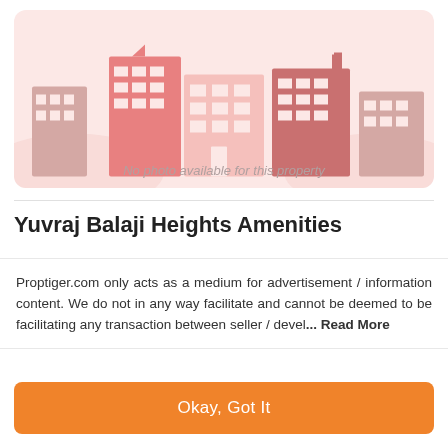[Figure (illustration): Placeholder illustration of buildings/city skyline in muted pink and red tones on light pink background, with text 'No photo available for this property']
Yuvraj Balaji Heights Amenities
Proptiger.com only acts as a medium for advertisement / information content. We do not in any way facilitate and cannot be deemed to be facilitating any transaction between seller / devel... Read More
Okay, Got It